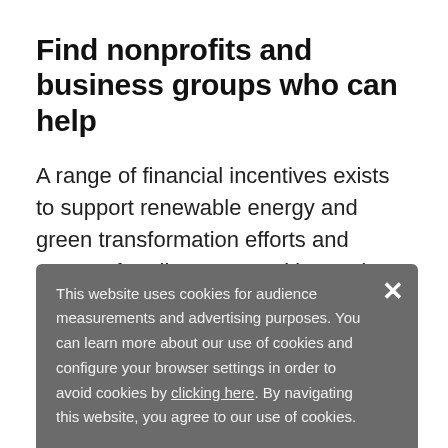Find nonprofits and business groups who can help
A range of financial incentives exists to support renewable energy and green transformation efforts and support frontline communities and workers in the energy transition. The US Green Chamber of Commerce has some great advice, tips, and hacks for business owners looking to
This website uses cookies for audience measurements and advertising purposes. You can learn more about our use of cookies and configure your browser settings in order to avoid cookies by clicking here. By navigating this website, you agree to our use of cookies.